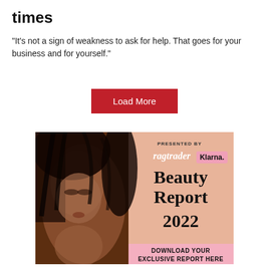times
"It's not a sign of weakness to ask for help. That goes for your business and for yourself."
Load More
[Figure (illustration): Advertisement banner for ragtrader x Klarna Beauty Report 2022, featuring a dark-skinned woman model on the left and text on a peach/salmon background on the right reading 'PRESENTED BY ragtrader Klarna. Beauty Report 2022 DOWNLOAD YOUR EXCLUSIVE REPORT HERE']